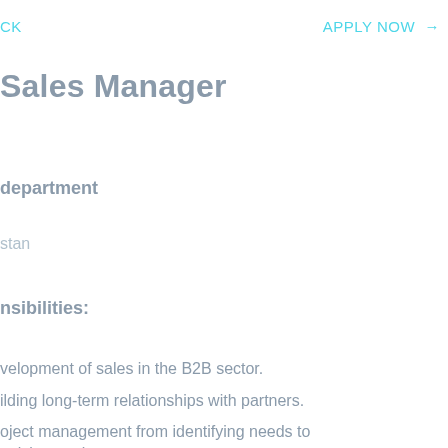CK   APPLY NOW →
Sales Manager
department
stan
nsibilities:
velopment of sales in the B2B sector.
ilding long-term relationships with partners.
oject management from identifying needs to
oplying equipment